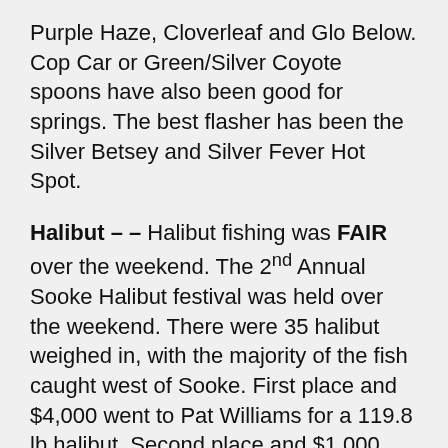Purple Haze, Cloverleaf and Glo Below. Cop Car or Green/Silver Coyote spoons have also been good for springs. The best flasher has been the Silver Betsey and Silver Fever Hot Spot.
Halibut – – Halibut fishing was FAIR over the weekend. The 2nd Annual Sooke Halibut festival was held over the weekend. There were 35 halibut weighed in, with the majority of the fish caught west of Sooke. First place and $4,000 went to Pat Williams for a 119.8 lb halibut. Second place and $1,000 went to Adrian Stacy for a 59.8 lb halibut. Mike bell took 3rd place and $5000 for a 58.4 lb halibut.   Extra Large herring, Salmon Bellies and/or Octopus are the most popular baits for halibut. Berkely Gulp and Powerbait soft plastics also work very well. You can also use